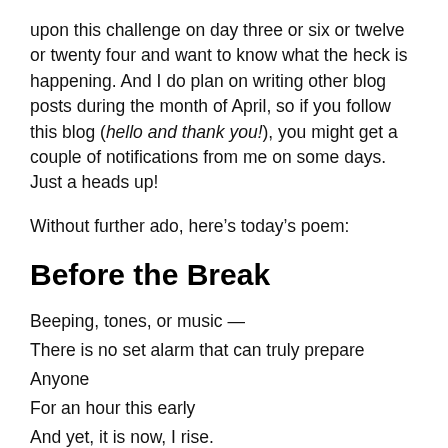upon this challenge on day three or six or twelve or twenty four and want to know what the heck is happening. And I do plan on writing other blog posts during the month of April, so if you follow this blog (hello and thank you!), you might get a couple of notifications from me on some days. Just a heads up!
Without further ado, here’s today’s poem:
Before the Break
Beeping, tones, or music —
There is no set alarm that can truly prepare
Anyone
For an hour this early
And yet, it is now, I rise.
No warm glow above the horizon